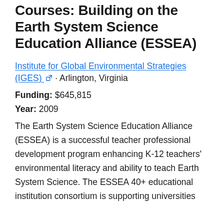Courses: Building on the Earth System Science Education Alliance (ESSEA)
Institute for Global Environmental Strategies (IGES) · Arlington, Virginia
Funding: $645,815
Year: 2009
The Earth System Science Education Alliance (ESSEA) is a successful teacher professional development program enhancing K-12 teachers' environmental literacy and ability to teach Earth System Science. The ESSEA 40+ educational institution consortium is supporting universities